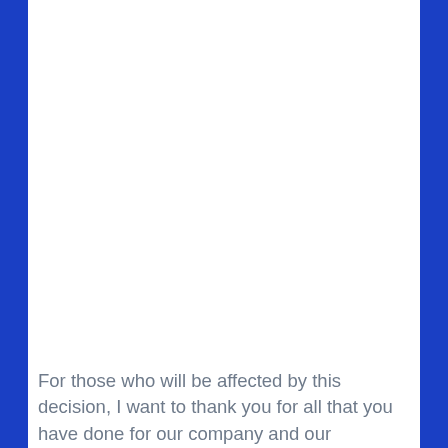For those who will be affected by this decision, I want to thank you for all that you have done for our company and our